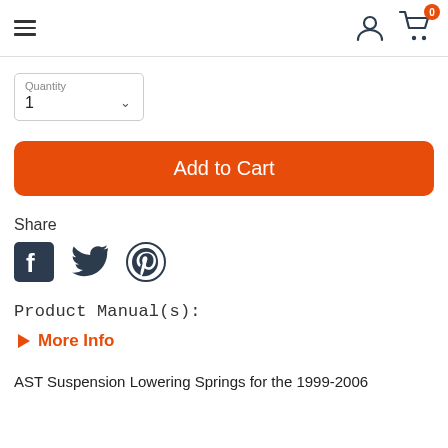Navigation header with hamburger menu, user icon, and cart icon showing 0 items
Quantity
1
Add to Cart
Share
[Figure (illustration): Social share icons: Facebook, Twitter, Pinterest]
Product Manual(s):
▶ More Info
AST Suspension Lowering Springs for the 1999-2006